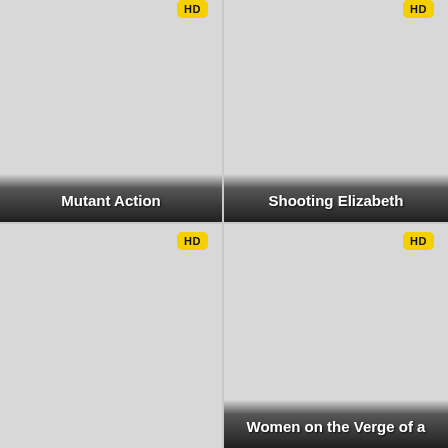[Figure (screenshot): Movie card grid showing four film thumbnails. Top-left: 'Mutant Action' with HD badge. Top-right: 'Shooting Elizabeth' with HD badge. Bottom-left: unnamed card with HD badge. Bottom-right: 'Women on the Verge of a...' with HD badge.]
HD
Mutant Action
HD
Shooting Elizabeth
HD
HD
Women on the Verge of a